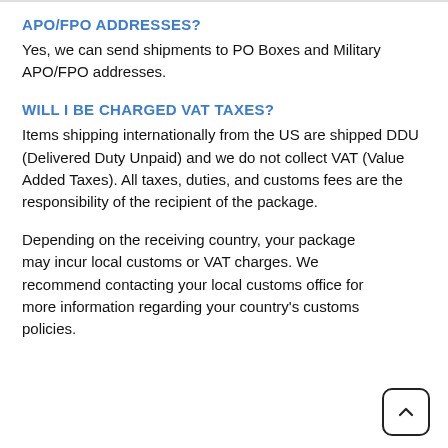APO/FPO ADDRESSES?
Yes, we can send shipments to PO Boxes and Military APO/FPO addresses.
WILL I BE CHARGED VAT TAXES?
Items shipping internationally from the US are shipped DDU (Delivered Duty Unpaid) and we do not collect VAT (Value Added Taxes). All taxes, duties, and customs fees are the responsibility of the recipient of the package.
Depending on the receiving country, your package may incur local customs or VAT charges. We recommend contacting your local customs office for more information regarding your country's customs policies.